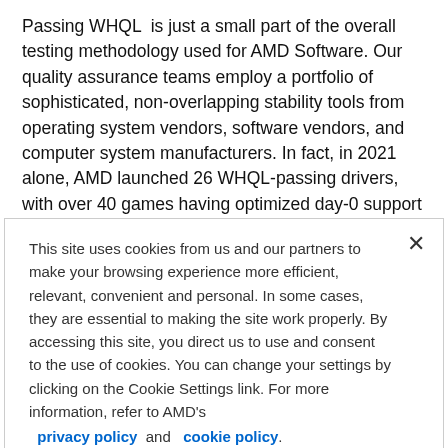Passing WHQL is just a small part of the overall testing methodology used for AMD Software. Our quality assurance teams employ a portfolio of sophisticated, non-overlapping stability tools from operating system vendors, software vendors, and computer system manufacturers. In fact, in 2021 alone, AMD launched 26 WHQL-passing drivers, with over 40 games having optimized day-0 support in the past year. For even more rigorous testing, the teams at AMD run automated testing on 6,000 unique system configurations in combination with production-grade features. The outcome then, is outstanding stability for our drivers – with 99.95% of users experiencing no
This site uses cookies from us and our partners to make your browsing experience more efficient, relevant, convenient and personal. In some cases, they are essential to making the site work properly. By accessing this site, you direct us to use and consent to the use of cookies. You can change your settings by clicking on the Cookie Settings link. For more information, refer to AMD's privacy policy and cookie policy.